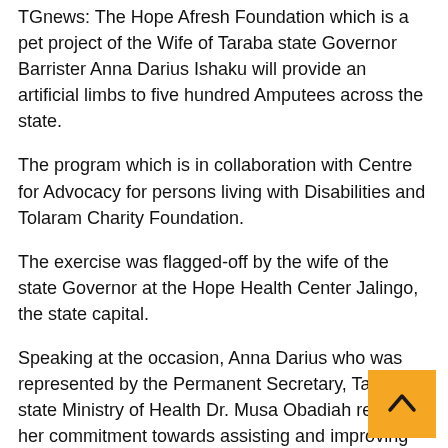TGnews: The Hope Afresh Foundation which is a pet project of the Wife of Taraba state Governor Barrister Anna Darius Ishaku will provide an artificial limbs to five hundred Amputees across the state.
The program which is in collaboration with Centre for Advocacy for persons living with Disabilities and Tolaram Charity Foundation.
The exercise was flagged-off by the wife of the state Governor at the Hope Health Center Jalingo, the state capital.
Speaking at the occasion, Anna Darius who was represented by the Permanent Secretary, Taraba state Ministry of Health Dr. Musa Obadiah restated her commitment towards assisting and improving the well-being of persons with special needs through such projects.
While appreciating Governor Ishaku's led administration for it's support to the Hope Afresh Foundation, Anna